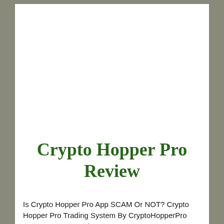Crypto Hopper Pro Review
Is Crypto Hopper Pro App SCAM Or NOT? Crypto Hopper Pro Trading System By CryptoHopperPro Team Scam Or Legit? How Does Crypto Hopper Pro System Work? Is It Possible To Earning Extra Fortune With Crypto Hopper Pro App? Discover Today Why Crypto Hopper Pro Trading System Is The Best for your investment options.